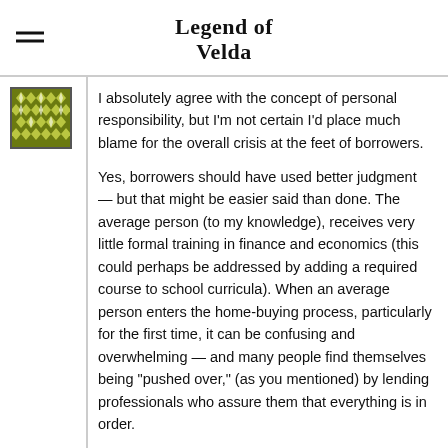Legend of Velda
[Figure (other): Green and white geometric patterned avatar/icon thumbnail]
I absolutely agree with the concept of personal responsibility, but I'm not certain I'd place much blame for the overall crisis at the feet of borrowers.

Yes, borrowers should have used better judgment — but that might be easier said than done. The average person (to my knowledge), receives very little formal training in finance and economics (this could perhaps be addressed by adding a required course to school curricula). When an average person enters the home-buying process, particularly for the first time, it can be confusing and overwhelming — and many people find themselves being "pushed over," (as you mentioned) by lending professionals who assure them that everything is in order.